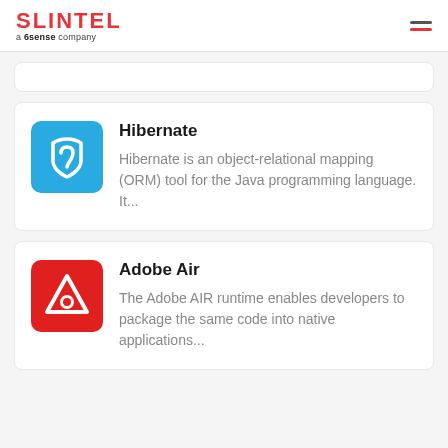SLINTEL a 6sense company
[Figure (logo): Slintel logo - red text 'SLINTEL' with 'a 6sense company' subtitle, and hamburger menu icon on right]
Hibernate
Hibernate is an object-relational mapping (ORM) tool for the Java programming language. It...
Adobe Air
The Adobe AIR runtime enables developers to package the same code into native applications...